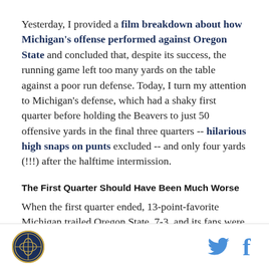Yesterday, I provided a film breakdown about how Michigan's offense performed against Oregon State and concluded that, despite its success, the running game left too many yards on the table against a poor run defense. Today, I turn my attention to Michigan's defense, which had a shaky first quarter before holding the Beavers to just 50 offensive yards in the final three quarters -- hilarious high snaps on punts excluded -- and only four yards (!!!) after the halftime intermission.
The First Quarter Should Have Been Much Worse
When the first quarter ended, 13-point-favorite Michigan trailed Oregon State, 7-3, and its fans were
[Figure (logo): Circular logo with gold/dark blue design, appears to be a sports or organization emblem]
[Figure (logo): Twitter bird icon in blue]
[Figure (logo): Facebook f icon in blue]